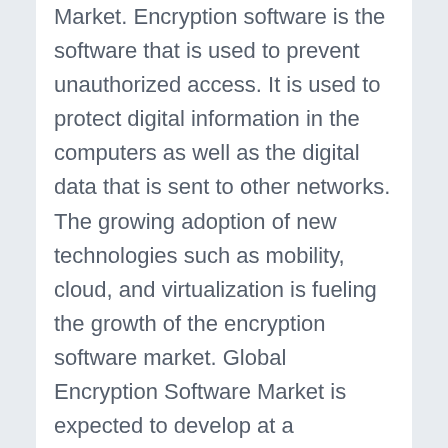Market. Encryption software is the software that is used to prevent unauthorized access. It is used to protect digital information in the computers as well as the digital data that is sent to other networks. The growing adoption of new technologies such as mobility, cloud, and virtualization is fueling the growth of the encryption software market. Global Encryption Software Market is expected to develop at a substantial CAGR in the coming years. The report also encloses the crucial aspects connected with the recent events such as new product launches, mergers & acquisitions, and alliances. The market has also been segmented on the basis of the provincial players, out of which some are well